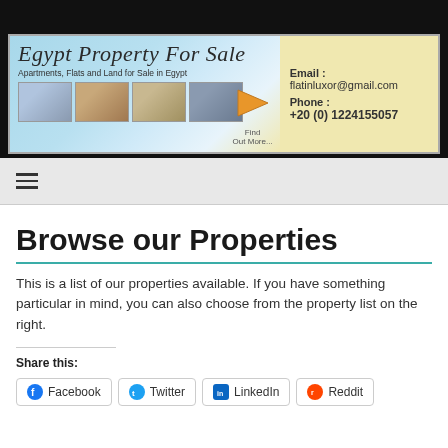[Figure (screenshot): Egypt Property For Sale website banner with logo, property photos, contact email flatinluxor@gmail.com, phone +20 (0) 1224155057, and Find Out More arrow button]
≡
Browse our Properties
This is a list of our properties available. If you have something particular in mind, you can also choose from the property list on the right.
Share this:
Facebook
Twitter
LinkedIn
Reddit